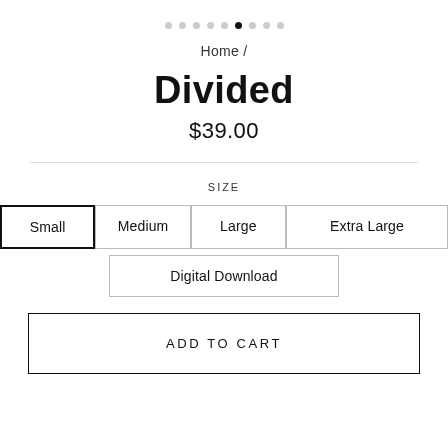[Figure (other): Pagination dots row, 9 dots with the 6th one filled/active]
Home /
Divided
$39.00
SIZE
Small (selected)
Medium
Large
Extra Large
Digital Download
ADD TO CART